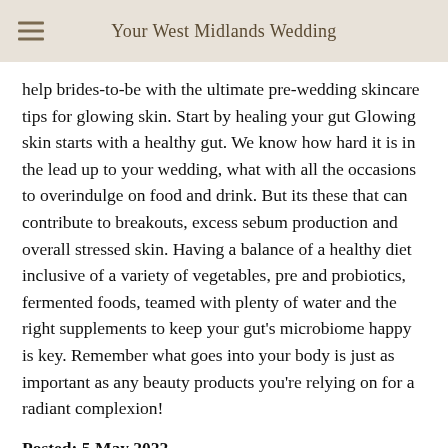Your West Midlands Wedding
help brides-to-be with the ultimate pre-wedding skincare tips for glowing skin. Start by healing your gut Glowing skin starts with a healthy gut. We know how hard it is in the lead up to your wedding, what with all the occasions to overindulge on food and drink. But its these that can contribute to breakouts, excess sebum production and overall stressed skin. Having a balance of a healthy diet inclusive of a variety of vegetables, pre and probiotics, fermented foods, teamed with plenty of water and the right supplements to keep your gut's microbiome happy is key. Remember what goes into your body is just as important as any beauty products you're relying on for a radiant complexion!
Posted: 5 May 2022